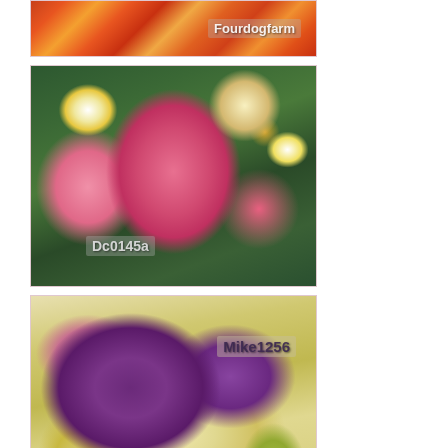[Figure (photo): Close-up of a red and orange striped lily flower with text overlay 'Fourdogfarm', partially cropped at top]
[Figure (photo): Pink lily with yellow bud surrounded by white daisy flowers against green foliage, with text overlay 'Dc0145a']
[Figure (photo): Close-up of a purple and cream/yellow iris flower with detailed petal texture and veining, with text overlay 'Mike1256']